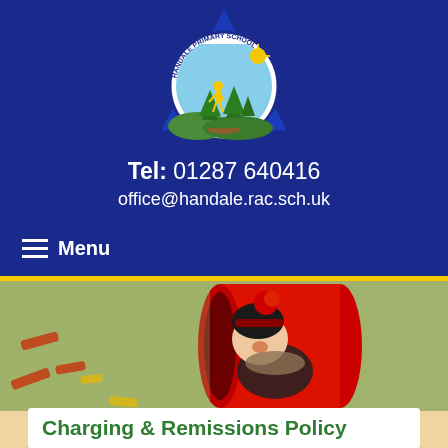[Figure (logo): Handale Primary School circular logo with a triangle shape containing trees and a child figure, text reads HANDALE PRIMARY SCHOOL around the circle]
Tel: 01287 640416
office@handale.rac.sch.uk
≡ Menu
[Figure (photo): A child wearing a pom-pom hat looking up while inside a large red tunnel/cylinder on a playground]
Charging & Remissions Policy